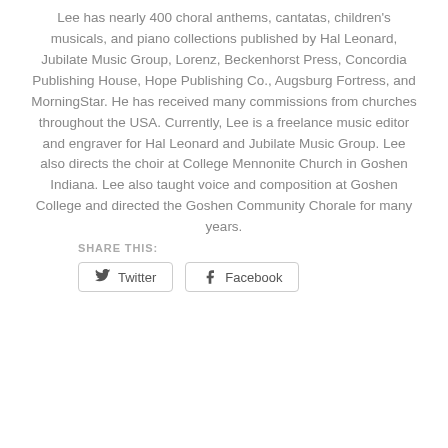Lee has nearly 400 choral anthems, cantatas, children's musicals, and piano collections published by Hal Leonard, Jubilate Music Group, Lorenz, Beckenhorst Press, Concordia Publishing House, Hope Publishing Co., Augsburg Fortress, and MorningStar. He has received many commissions from churches throughout the USA. Currently, Lee is a freelance music editor and engraver for Hal Leonard and Jubilate Music Group. Lee also directs the choir at College Mennonite Church in Goshen Indiana. Lee also taught voice and composition at Goshen College and directed the Goshen Community Chorale for many years.
SHARE THIS:
[Figure (other): Twitter and Facebook share buttons]